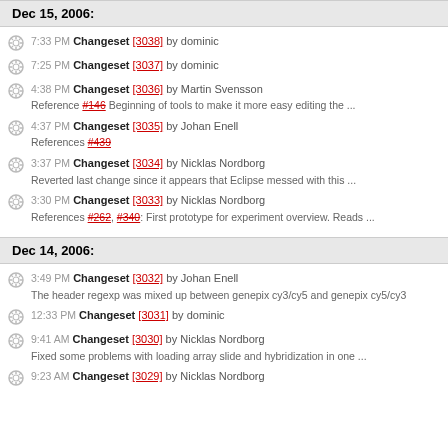Dec 15, 2006:
7:33 PM Changeset [3038] by dominic
7:25 PM Changeset [3037] by dominic
4:38 PM Changeset [3036] by Martin Svensson
Reference #146 Beginning of tools to make it more easy editing the ...
4:37 PM Changeset [3035] by Johan Enell
References #439
3:37 PM Changeset [3034] by Nicklas Nordborg
Reverted last change since it appears that Eclipse messed with this ...
3:30 PM Changeset [3033] by Nicklas Nordborg
References #262, #340: First prototype for experiment overview. Reads ...
Dec 14, 2006:
3:49 PM Changeset [3032] by Johan Enell
The header regexp was mixed up between genepix cy3/cy5 and genepix cy5/cy3
12:33 PM Changeset [3031] by dominic
9:41 AM Changeset [3030] by Nicklas Nordborg
Fixed some problems with loading array slide and hybridization in one ...
9:23 AM Changeset [3029] by Nicklas Nordborg